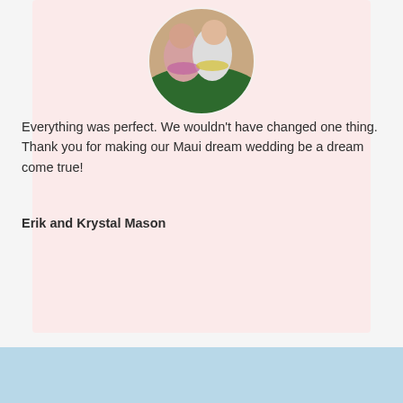[Figure (photo): Circular portrait photo of a couple, a woman and a man, wearing floral leis, smiling, outdoors]
Everything was perfect. We wouldn't have changed one thing. Thank you for making our Maui dream wedding be a dream come true!
Erik and Krystal Mason